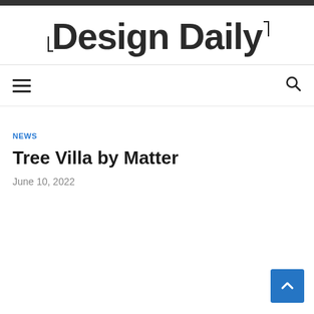Design Daily
NEWS
Tree Villa by Matter
June 10, 2022